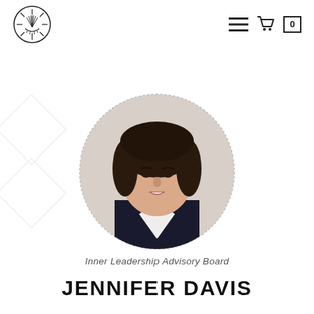[Figure (logo): Sunburst/eye logo in a circle, top left navigation]
[Figure (photo): Circular portrait photo of Jennifer Davis, a woman with dark hair wearing a dark blazer and white shirt, on a light beige background]
Inner Leadership Advisory Board
JENNIFER DAVIS